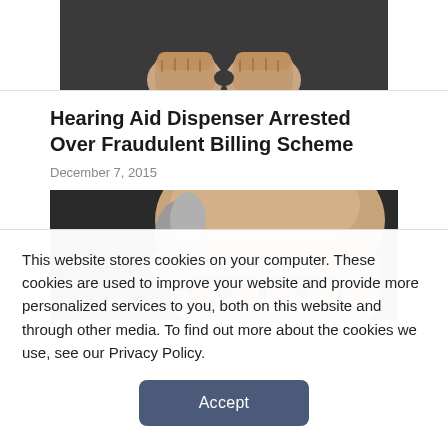[Figure (photo): Partial view of a person with hands clasped together in fists, wearing a dark top, cropped to show torso and hands only]
Hearing Aid Dispenser Arrested Over Fraudulent Billing Scheme
December 7, 2015
[Figure (photo): Close-up photo of an elderly bald man's face partially visible, looking sideways, wearing glasses]
This website stores cookies on your computer. These cookies are used to improve your website and provide more personalized services to you, both on this website and through other media. To find out more about the cookies we use, see our Privacy Policy.